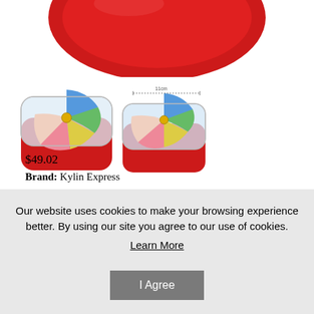[Figure (photo): Partial view of a red silicone bowl/colander from above against white background]
[Figure (photo): Two colorful pill organizer boxes with clear lids showing blue, green, yellow, and pink compartments, red base. One box is open showing dimensions.]
$49.02
Brand:  Kylin Express
Our website uses cookies to make your browsing experience better. By using our site you agree to our use of cookies.
Learn More
I Agree